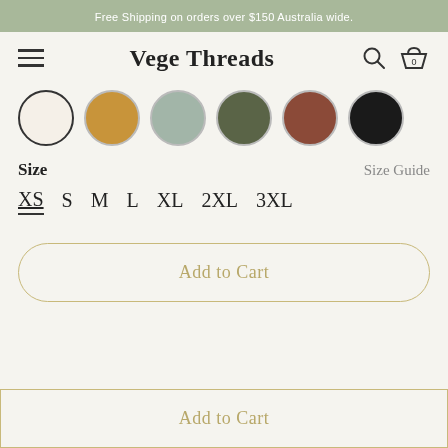Free Shipping on orders over $150 Australia wide.
Vege Threads
[Figure (infographic): Six circular color swatches: cream (selected, with dark border), gold/mustard, sage green, olive green, rust/brown, black]
Size
Size Guide
XS (selected, underlined)  S  M  L  XL  2XL  3XL
Add to Cart
Add to Cart